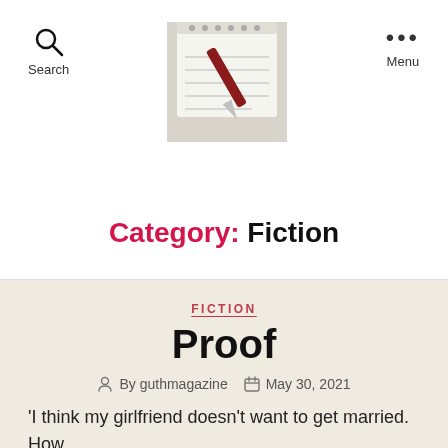Search | [logo image] | Menu
Category: Fiction
FICTION
Proof
By guthmagazine   May 30, 2021
‘I think my girlfriend doesn’t want to get married. How